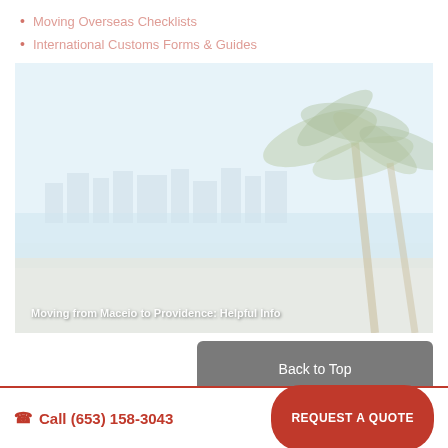Moving Overseas Checklists
International Customs Forms & Guides
[Figure (photo): Faded beach scene with palm trees on the right, city skyline in the background, and calm ocean water. Overlay text: Moving from Maceio to Providence: Helpful Info]
Moving from Maceio to Providence: Helpful Info
Back to Top
Call (653) 158-3043   REQUEST A QUOTE